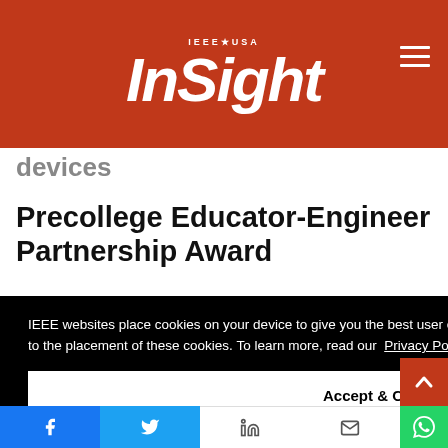IEEE★USA InSight
devices
Precollege Educator-Engineer Partnership Award
IEEE websites place cookies on your device to give you the best user experience. By using our websites, you agree to the placement of these cookies. To learn more, read our Privacy Policy.
Accept & Close